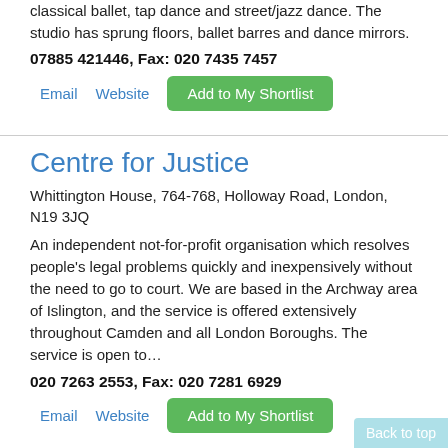classical ballet, tap dance and street/jazz dance. The studio has sprung floors, ballet barres and dance mirrors.
07885 421446, Fax: 020 7435 7457
Email   Website   Add to My Shortlist
Centre for Justice
Whittington House, 764-768, Holloway Road, London, N19 3JQ
An independent not-for-profit organisation which resolves people's legal problems quickly and inexpensively without the need to go to court. We are based in the Archway area of Islington, and the service is offered extensively throughout Camden and all London Boroughs. The service is open to…
020 7263 2553, Fax: 020 7281 6929
Email   Website   Add to My Shortlist
Back to top